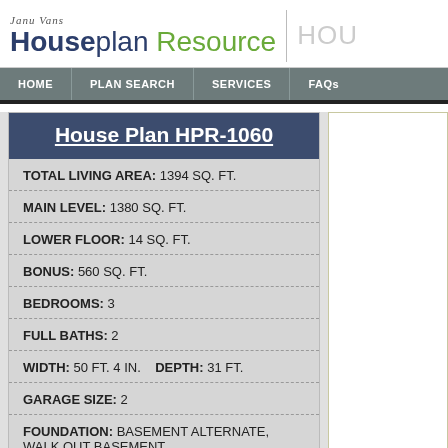HousePlan Resource
HOME | PLAN SEARCH | SERVICES | FAQs
House Plan HPR-1060
TOTAL LIVING AREA: 1394 SQ. FT.
MAIN LEVEL: 1380 SQ. FT.
LOWER FLOOR: 14 SQ. FT.
BONUS: 560 SQ. FT.
BEDROOMS: 3
FULL BATHS: 2
WIDTH: 50 FT. 4 IN.    DEPTH: 31 FT.
GARAGE SIZE: 2
FOUNDATION: BASEMENT ALTERNATE, WALK OUT BASEMENT
+ View Plan Details